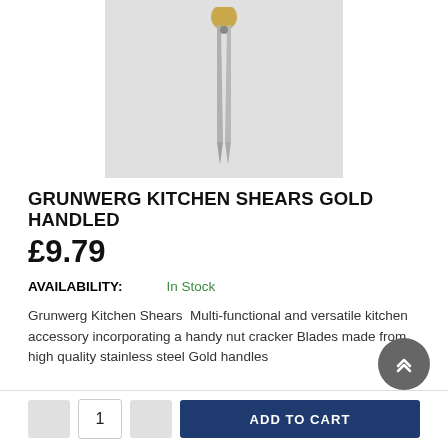[Figure (photo): Kitchen shears with gold handle, blades pointing down, on light gray background]
GRUNWERG KITCHEN SHEARS GOLD HANDLED
£9.79
AVAILABILITY: In Stock
Grunwerg Kitchen Shears  Multi-functional and versatile kitchen accessory incorporating a handy nut cracker Blades made from high quality stainless steel Gold handles
ADD TO CART